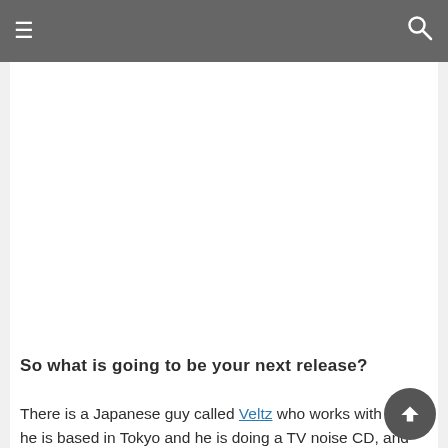☰ [menu icon] | [search icon]
So what is going to be your next release?
There is a Japanese guy called Veltz who works with TVs, he is based in Tokyo and he is doing a TV noise CD, and the Australian guy is called Peter